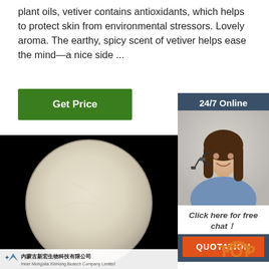plant oils, vetiver contains antioxidants, which helps to protect skin from environmental stressors. Lovely aroma. The earthy, spicy scent of vetiver helps ease the mind—a nice side ...
Get Price
24/7 Online
[Figure (photo): Customer service agent with headset smiling, in a blue outfit, on white/grey background]
Click here for free chat !
QUOTATION
[Figure (photo): A white/cream powder on a black background in a round dish, with company logo and text at bottom: 内蒙古新宏生物科技有限公司, Inner Mongolia XinHong Biotech Company Limited]
[Figure (other): TOP badge with arc of orange dots above orange TOP text]